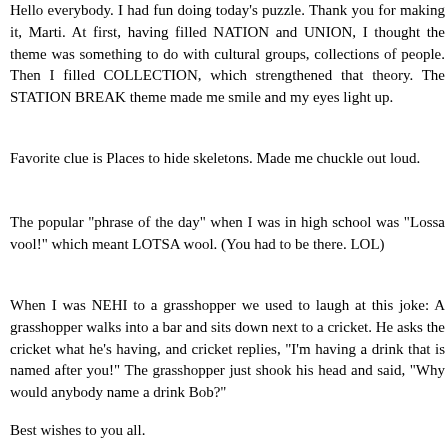Hello everybody. I had fun doing today's puzzle. Thank you for making it, Marti. At first, having filled NATION and UNION, I thought the theme was something to do with cultural groups, collections of people. Then I filled COLLECTION, which strengthened that theory. The STATION BREAK theme made me smile and my eyes light up.
Favorite clue is Places to hide skeletons. Made me chuckle out loud.
The popular "phrase of the day" when I was in high school was "Lossa vool!" which meant LOTSA wool. (You had to be there. LOL)
When I was NEHI to a grasshopper we used to laugh at this joke: A grasshopper walks into a bar and sits down next to a cricket. He asks the cricket what he's having, and cricket replies, "I'm having a drink that is named after you!" The grasshopper just shook his head and said, "Why would anybody name a drink Bob?"
Best wishes to you all.